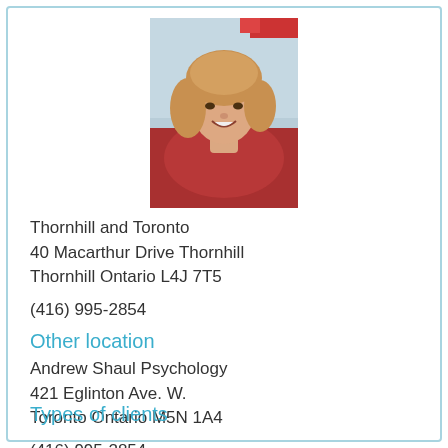[Figure (photo): Headshot of a woman with blonde hair wearing a red top, smiling]
Thornhill and Toronto
40 Macarthur Drive Thornhill
Thornhill Ontario L4J 7T5
(416) 995-2854
Other location
Andrew Shaul Psychology
421 Eglinton Ave. W.
Toronto Ontario M5N 1A4
(416) 995-2854
Types of clients